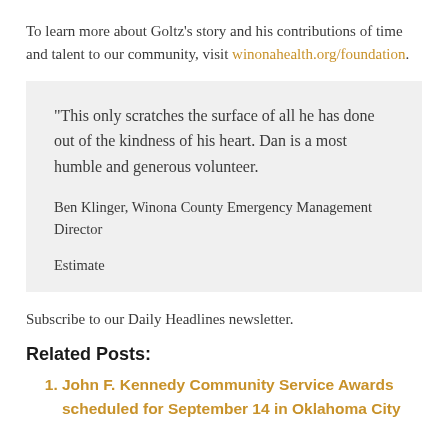To learn more about Goltz's story and his contributions of time and talent to our community, visit winonahealth.org/foundation.
“This only scratches the surface of all he has done out of the kindness of his heart. Dan is a most humble and generous volunteer.

Ben Klinger, Winona County Emergency Management Director

Estimate
Subscribe to our Daily Headlines newsletter.
Related Posts:
John F. Kennedy Community Service Awards scheduled for September 14 in Oklahoma City